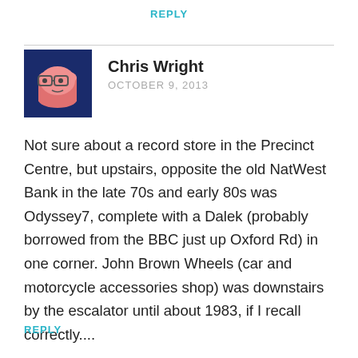REPLY
[Figure (illustration): Avatar image of Chris Wright — a cartoon pink cylinder with glasses on a dark blue background]
Chris Wright
OCTOBER 9, 2013
Not sure about a record store in the Precinct Centre, but upstairs, opposite the old NatWest Bank in the late 70s and early 80s was Odyssey7, complete with a Dalek (probably borrowed from the BBC just up Oxford Rd) in one corner. John Brown Wheels (car and motorcycle accessories shop) was downstairs by the escalator until about 1983, if I recall correctly....
REPLY